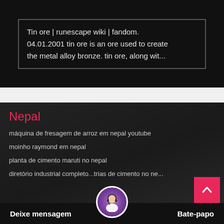Tin ore | runescape wiki | fandom. 04.01.2001 tin ore is an ore used to create the metal alloy bronze. tin ore, along wit...
Nepal
máquina de fresagem de arroz em nepal youtube
moinho raymond em nepal
planta de cimento maruti no nepal
diretório industrial completo...trias de cimento no ne...
Deixe mensagem
Bate-papo